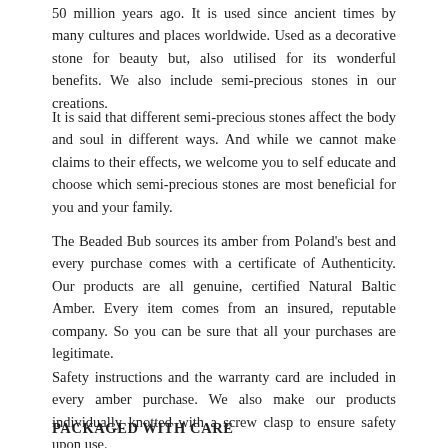50 million years ago. It is used since ancient times by many cultures and places worldwide. Used as a decorative stone for beauty but, also utilised for its wonderful benefits. We also include semi-precious stones in our creations.
It is said that different semi-precious stones affect the body and soul in different ways. And while we cannot make claims to their effects, we welcome you to self educate and choose which semi-precious stones are most beneficial for you and your family.
The Beaded Bub sources its amber from Poland's best and every purchase comes with a certificate of Authenticity. Our products are all genuine, certified Natural Baltic Amber. Every item comes from an insured, reputable company. So you can be sure that all your purchases are legitimate.
Safety instructions and the warranty card are included in every amber purchase. We also make our products individually knotted with a screw clasp to ensure safety upon use.
PACKAGED WITH CARE